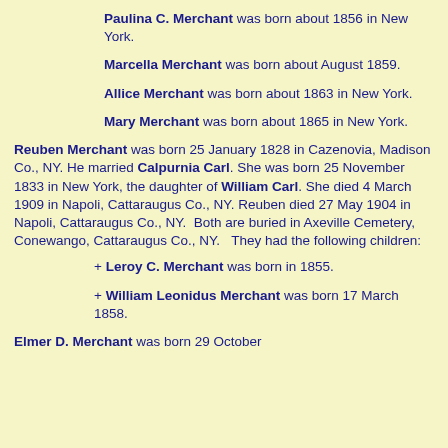Paulina C. Merchant was born about 1856 in New York.
Marcella Merchant was born about August 1859.
Allice Merchant was born about 1863 in New York.
Mary Merchant was born about 1865 in New York.
Reuben Merchant was born 25 January 1828 in Cazenovia, Madison Co., NY. He married Calpurnia Carl. She was born 25 November 1833 in New York, the daughter of William Carl. She died 4 March 1909 in Napoli, Cattaraugus Co., NY. Reuben died 27 May 1904 in Napoli, Cattaraugus Co., NY. Both are buried in Axeville Cemetery, Conewango, Cattaraugus Co., NY. They had the following children:
+ Leroy C. Merchant was born in 1855.
+ William Leonidus Merchant was born 17 March 1858.
Elmer D. Merchant was born 29 October